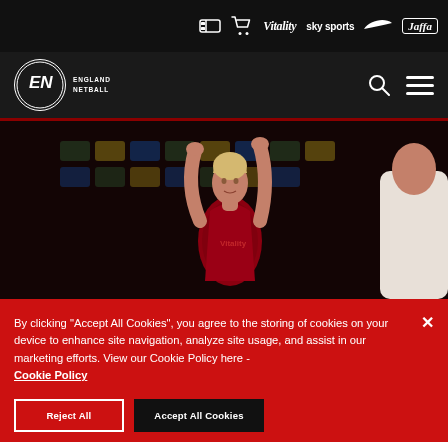Sponsors bar: ticket icon, cart icon, Vitality, sky sports, Nike swoosh, Jaffa
England Netball navigation bar with logo, search icon, and hamburger menu
[Figure (photo): Female netball player in red patterned jersey shooting/passing with arms raised above head, blurred crowd seating in background, another player in white on right edge]
By clicking "Accept All Cookies", you agree to the storing of cookies on your device to enhance site navigation, analyze site usage, and assist in our marketing efforts. View our Cookie Policy here - Cookie Policy
Cookie consent buttons row (Reject All / Accept All Cookies)